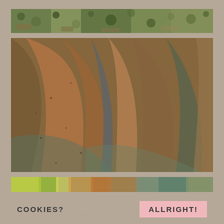[Figure (photo): Top horizontal strip showing green mossy/gravel texture, aerial or close-up view of ground cover with greens and browns]
[Figure (photo): Large main image showing close-up of draped fabric or stone sculpture with earthy orange, brown, and teal/green tones, showing flowing folds and texture]
[Figure (photo): Bottom horizontal strip showing colorful abstract texture with yellow-green, orange, and teal tones]
COOKIES?
SETTINGS
ALLRIGHT!